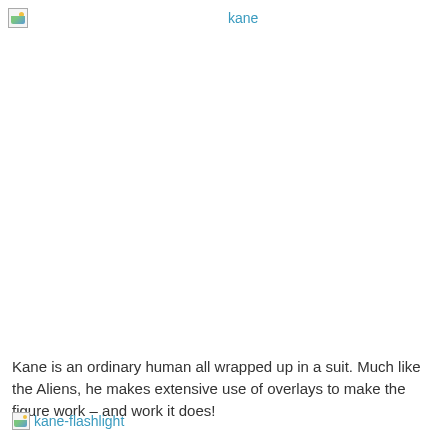kane
[Figure (photo): Main image area for 'kane' — broken/missing image placeholder]
Kane is an ordinary human all wrapped up in a suit. Much like the Aliens, he makes extensive use of overlays to make the figure work – and work it does!
[Figure (photo): kane-flashlight image link (broken/missing image placeholder)]